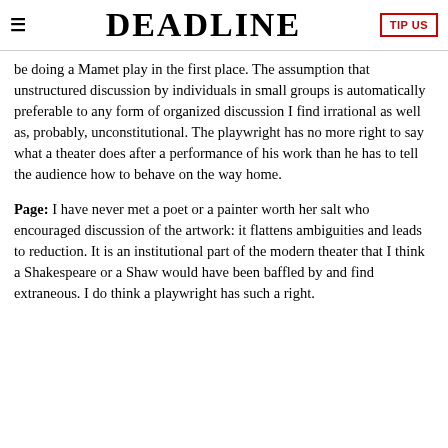≡  DEADLINE  TIP US
be doing a Mamet play in the first place. The assumption that unstructured discussion by individuals in small groups is automatically preferable to any form of organized discussion I find irrational as well as, probably, unconstitutional. The playwright has no more right to say what a theater does after a performance of his work than he has to tell the audience how to behave on the way home.
Page: I have never met a poet or a painter worth her salt who encouraged discussion of the artwork: it flattens ambiguities and leads to reduction. It is an institutional part of the modern theater that I think a Shakespeare or a Shaw would have been baffled by and find extraneous. I do think a playwright has such a right.